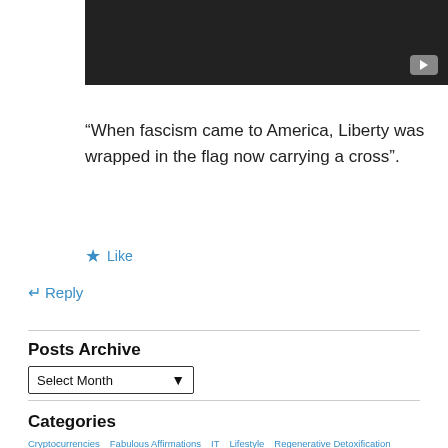[Figure (screenshot): Video thumbnail with dark background and YouTube play button icon in bottom right]
“When fascism came to America, Liberty was wrapped in the flag now carrying a cross”.
Like
Reply
Posts Archive
Select Month
Categories
Cryptocurrencies
Fabulous Affirmations
IT
Lifestyle
Regenerative Detoxification
Uncategorized